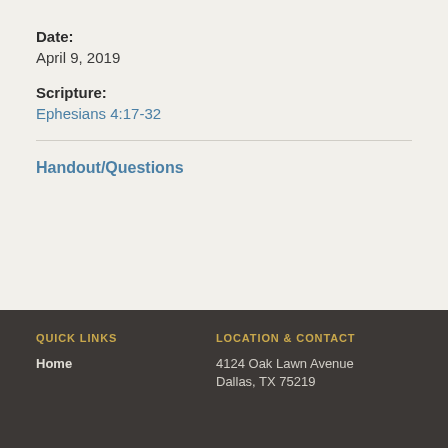Date:
April 9, 2019
Scripture:
Ephesians 4:17-32
Handout/Questions
QUICK LINKS
Home
LOCATION & CONTACT
4124 Oak Lawn Avenue
Dallas, TX 75219